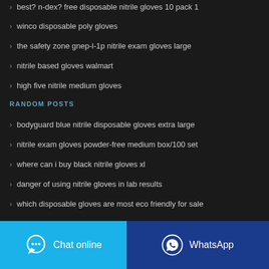best? n-dex? free disposable nitrile gloves 10 pack 1
winco disposable poly gloves
the safety zone gnep-l-1p nitrile exam gloves large
nitrile based gloves walmart
high five nitrile medium gloves
RANDOM POSTS
bodyguard blue nitrile disposable gloves extra large
nitrile exam gloves powder-free medium box/100 set
where can i buy black nitrile gloves xl
danger of using nitrile gloves in lab results
which disposable gloves are most eco friendly for sale
disposable vinyl nitrile blend gloves osfake
Chat online
WhatsApp